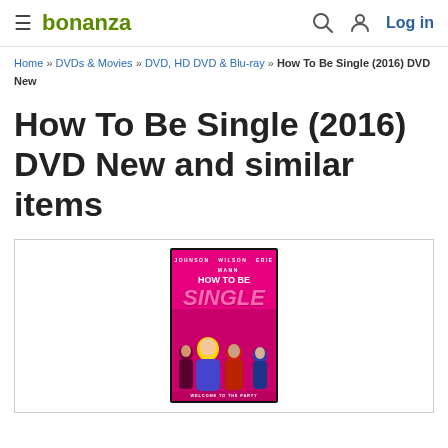bonanza | Log in
Home » DVDs & Movies » DVD, HD DVD & Blu-ray » How To Be Single (2016) DVD New
How To Be Single (2016) DVD New and similar items
[Figure (photo): DVD cover of 'How To Be Single' (2016) showing movie poster with four women sitting on a pink background, title text in white and pink. Cast names JOHNSON, WILSON, ERIE, MANN shown at top.]